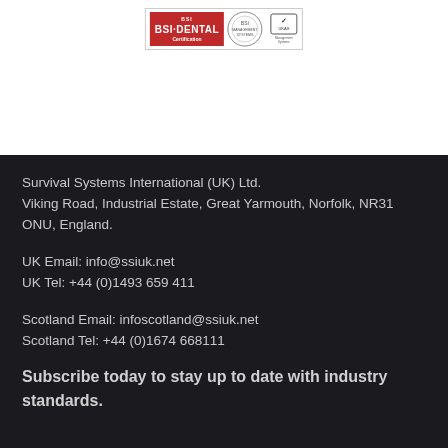[Figure (logo): ISO 9001 BSI Assurance Mark certification logo with UKAS management systems mark]
Survival Systems International (UK) Ltd.
Viking Road, Industrial Estate, Great Yarmouth, Norfolk, NR31 ONU, England.
UK Email: info@ssiuk.net
UK Tel: +44 (0)1493 659 411
Scotland Email: infoscotland@ssiuk.net
Scotland Tel: +44 (0)1674 668111
Subscribe today to stay up to date with industry standards.